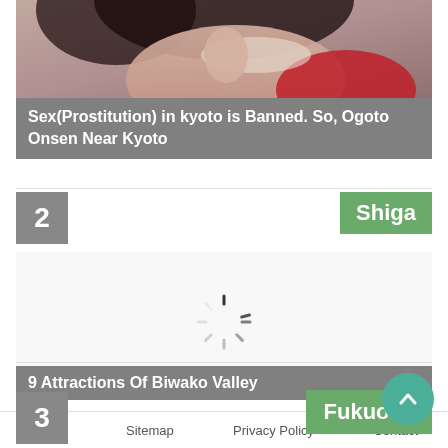[Figure (photo): Partial photo of a person wearing red and white clothing, cropped at top]
Sex(Prostitution) in kyoto is Banned. So, Ogoto Onsen Near Kyoto
2
Shiga
[Figure (other): Loading spinner icon on white background]
9 Attractions Of Biwako Valley
3
Fukuoka
Profile   Sitemap   Privacy Policy   Contact